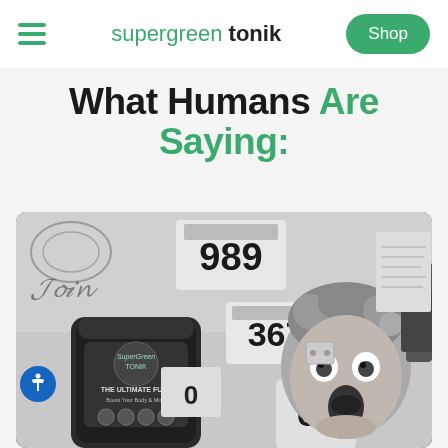supergreen tonik — Shop (navigation bar)
What Humans Are Saying:
[Figure (photo): Black and white photo of a person making a surprised face, holding a SuperGreen Tonik supplement container. Behind them are running race bibs with numbers 989, 367, and 66 visible on the wall.]